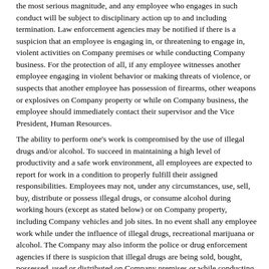the most serious magnitude, and any employee who engages in such conduct will be subject to disciplinary action up to and including termination. Law enforcement agencies may be notified if there is a suspicion that an employee is engaging in, or threatening to engage in, violent activities on Company premises or while conducting Company business. For the protection of all, if any employee witnesses another employee engaging in violent behavior or making threats of violence, or suspects that another employee has possession of firearms, other weapons or explosives on Company property or while on Company business, the employee should immediately contact their supervisor and the Vice President, Human Resources.
The ability to perform one's work is compromised by the use of illegal drugs and/or alcohol. To succeed in maintaining a high level of productivity and a safe work environment, all employees are expected to report for work in a condition to properly fulfill their assigned responsibilities. Employees may not, under any circumstances, use, sell, buy, distribute or possess illegal drugs, or consume alcohol during working hours (except as stated below) or on Company property, including Company vehicles and job sites. In no event shall any employee work while under the influence of illegal drugs, recreational marijuana or alcohol. The Company may also inform the police or drug enforcement agencies if there is suspicion that illegal drugs are being sold, bought, possessed, used or distributed on Company premises or while conducting company business.